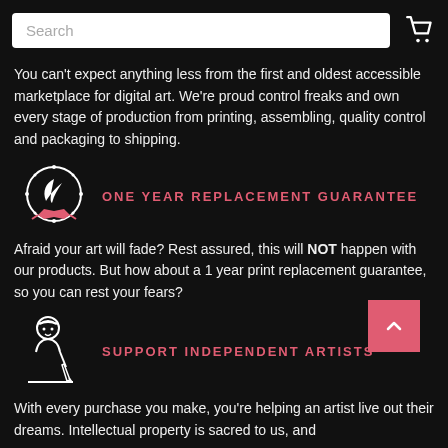Search [search box] [cart icon]
You can't expect anything less from the first and oldest accessible marketplace for digital art. We're proud control freaks and own every stage of production from printing, assembling, quality control and packaging to shipping.
[Figure (logo): Circular badge/seal logo with a feather quill and ribbon, white on black]
ONE YEAR REPLACEMENT GUARANTEE
Afraid your art will fade? Rest assured, this will NOT happen with our products. But how about a 1 year print replacement guarantee, so you can rest your fears?
[Figure (illustration): Line art illustration of an artist figure drawing/writing with a pen]
SUPPORT INDEPENDENT ARTISTS
With every purchase you make, you're helping an artist live out their dreams. Intellectual property is sacred to us, and